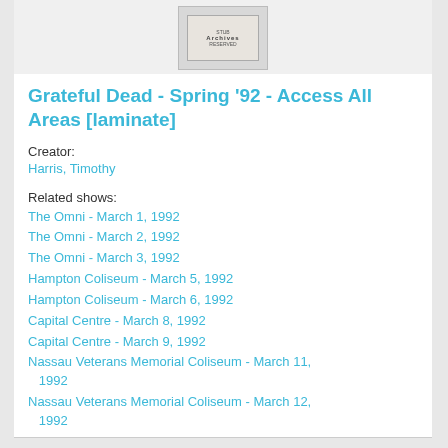[Figure (photo): Thumbnail image of an archival laminate badge/pass labeled Archives]
Grateful Dead - Spring '92 - Access All Areas [laminate]
Creator:
Harris, Timothy
Related shows:
The Omni - March 1, 1992
The Omni - March 2, 1992
The Omni - March 3, 1992
Hampton Coliseum - March 5, 1992
Hampton Coliseum - March 6, 1992
Capital Centre - March 8, 1992
Capital Centre - March 9, 1992
Nassau Veterans Memorial Coliseum - March 11, 1992
Nassau Veterans Memorial Coliseum - March 12, 1992
Nassau Veterans Memorial Coliseum - March 13, 1992
The Spectrum - March 16, 1992
The Spectrum - March 17, 1992
The Spectrum - March 18, 1992
Copps Coliseum - March 20, 1992
Copps Coliseum - March 21, 1992
The Palace - March 23, 1992
The Palace - March 24, 1992